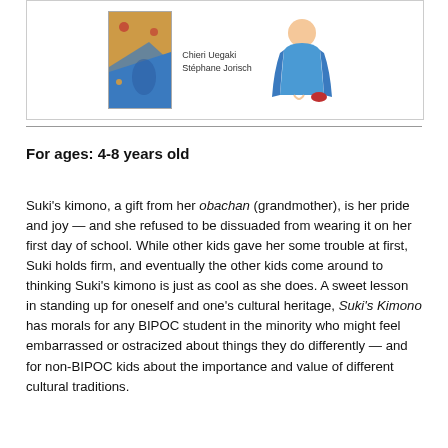[Figure (illustration): Book cover illustration showing a girl in a kimono with authors Chieri Uegaki and Stéphane Jorisch listed]
For ages: 4-8 years old
Suki's kimono, a gift from her obachan (grandmother), is her pride and joy — and she refused to be dissuaded from wearing it on her first day of school. While other kids gave her some trouble at first, Suki holds firm, and eventually the other kids come around to thinking Suki's kimono is just as cool as she does. A sweet lesson in standing up for oneself and one's cultural heritage, Suki's Kimono has morals for any BIPOC student in the minority who might feel embarrassed or ostracized about things they do differently — and for non-BIPOC kids about the importance and value of different cultural traditions.